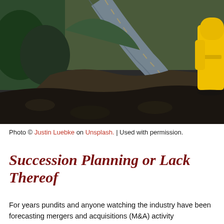[Figure (photo): Aerial or elevated view of a winding mountain road with rocky terrain and burnt/dark ground, a person in a bright yellow rain jacket visible at the right edge]
Photo © Justin Luebke on Unsplash. | Used with permission.
Succession Planning or Lack Thereof
For years pundits and anyone watching the industry have been forecasting mergers and acquisitions (M&A) activity